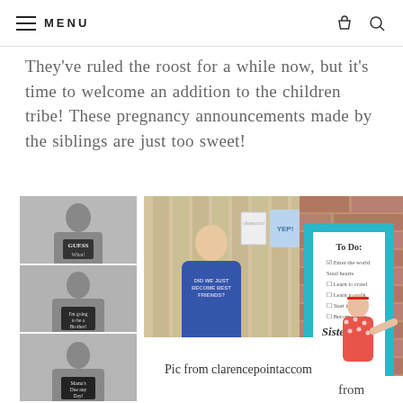MENU
They've ruled the roost for a while now, but it's time to welcome an addition to the children tribe! These pregnancy announcements made by the siblings are just too sweet!
[Figure (photo): Series of four black and white photos of a young boy holding chalkboard signs with pregnancy announcement messages: 'GUESS What!', 'I'm going to be a Brother!', 'Mama's Due any Day!', and a fourth partially visible]
[Figure (photo): Color photo of a toddler boy wearing a shirt that says 'DID WE JUST BECOME BEST FRIENDS?' standing in front of a wood fence with a baby onesie that says 'YEP!' and an ultrasound photo hanging on it]
Pic from clarencepointaccom
[Figure (photo): Color photo of a toddler girl in a polka dot swimsuit standing next to a teal framed 'To Do' list sign with items about becoming a big sister]
from